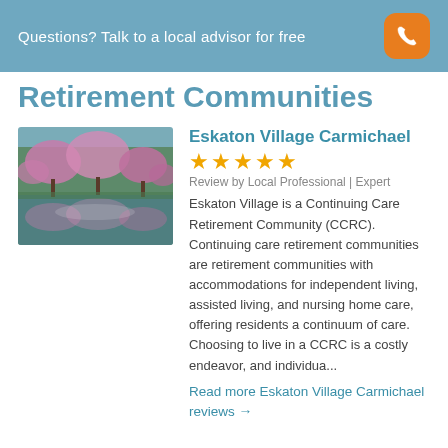Questions? Talk to a local advisor for free
Retirement Communities
[Figure (photo): Outdoor photo of a park or garden with cherry blossom trees reflected in a pond]
Eskaton Village Carmichael
★★★★★
Review by Local Professional | Expert
Eskaton Village is a Continuing Care Retirement Community (CCRC). Continuing care retirement communities are retirement communities with accommodations for independent living, assisted living, and nursing home care, offering residents a continuum of care. Choosing to live in a CCRC is a costly endeavor, and individua...
Read more Eskaton Village Carmichael reviews →